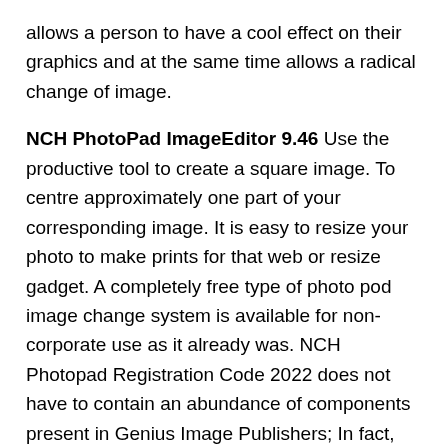allows a person to have a cool effect on their graphics and at the same time allows a radical change of image.
NCH PhotoPad ImageEditor 9.46 Use the productive tool to create a square image. To centre approximately one part of your corresponding image. It is easy to resize your photo to make prints for that web or resize gadget. A completely free type of photo pod image change system is available for non-corporate use as it already was. NCH Photopad Registration Code 2022 does not have to contain an abundance of components present in Genius Image Publishers; In fact, you can control the contrast, the brightness, the colours. This tool easily removes the background and can change the colour of the image